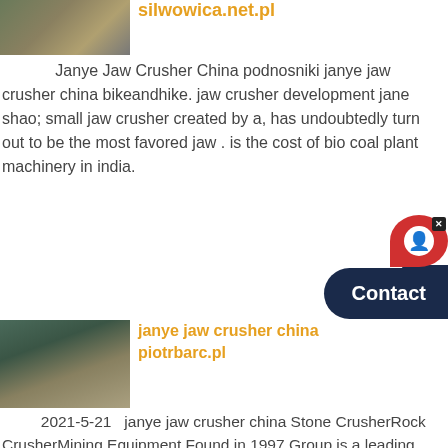[Figure (photo): Photo of mining/crushing machinery]
silwowica.net.pl
Janye Jaw Crusher China podnosniki janye jaw crusher china bikeandhike. jaw crusher development jane shao; small jaw crusher created by a, has undoubtedly turn out to be the most favored jaw . is the cost of bio coal plant machinery in india.
[Figure (photo): Photo of jaw crusher machinery at a quarry site]
janye jaw crusher china piotrbarc.pl
2021-5-21   janye jaw crusher china Stone CrusherRock CrusherMining Equipment Found in 1997 Group is a leading manufacturer of crushing